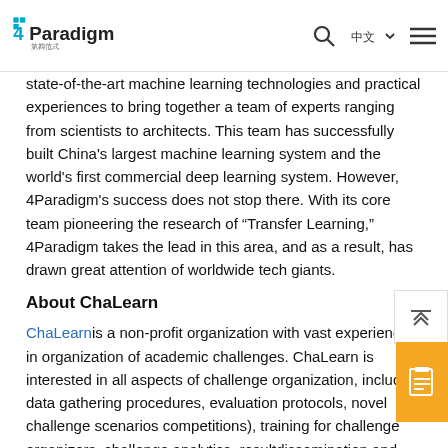4Paradigm logo with navigation icons (search, language, menu)
state-of-the-art machine learning technologies and practical experiences to bring together a team of experts ranging from scientists to architects. This team has successfully built China's largest machine learning system and the world's first commercial deep learning system. However, 4Paradigm's success does not stop there. With its core team pioneering the research of “Transfer Learning,” 4Paradigm takes the lead in this area, and as a result, has drawn great attention of worldwide tech giants.
About ChaLearn
ChaLearn is a non-profit organization with vast experience in organization of academic challenges. ChaLearn is interested in all aspects of challenge organization, including data gathering procedures, evaluation protocols, novel challenge scenarios competitions), training for challenge organizers, challenge analytics, resultdissemination and, ultimately, advancing the state-of-the-art through challenges.